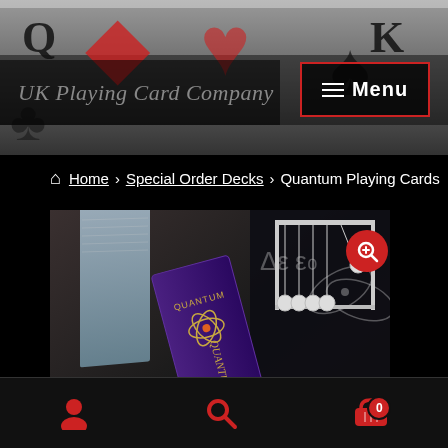[Figure (screenshot): Website header with playing cards background, UK Playing Card Company logo, and Menu button with red border]
Home › Special Order Decks › Quantum Playing Cards
[Figure (photo): Quantum Playing Cards product photo showing purple deck box with gold lettering, Newton's cradle, compass, and playing cards spread on a dark surface]
[Figure (screenshot): Bottom navigation bar with user icon, search icon, and cart icon (badge showing 0)]